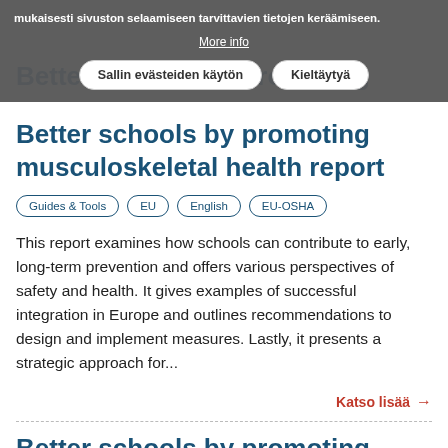mukaisesti sivuston selaamiseen tarvittavien tietojen keräämiseen.
More info
Sallin evästeiden käytön   Kieltäytyä
Better schools by promoting musculoskeletal health report
Guides & Tools   EU   English   EU-OSHA
This report examines how schools can contribute to early, long-term prevention and offers various perspectives of safety and health. It gives examples of successful integration in Europe and outlines recommendations to design and implement measures. Lastly, it presents a strategic approach for...
Katso lisää →
Better schools by promoting